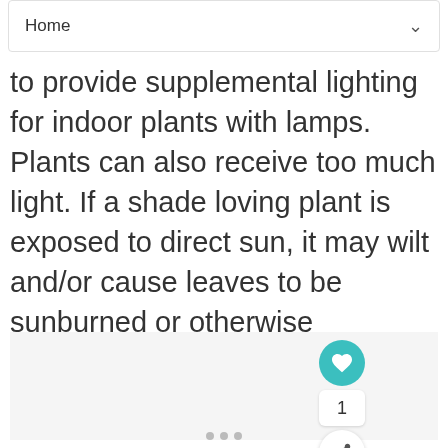Home
to provide supplemental lighting for indoor plants with lamps. Plants can also receive too much light. If a shade loving plant is exposed to direct sun, it may wilt and/or cause leaves to be sunburned or otherwise damaged.
[Figure (screenshot): UI elements: heart/like button (teal), like count showing 1, share button, What's Next card for Callirhoe – Poppy Mallo..., and pagination dots at bottom]